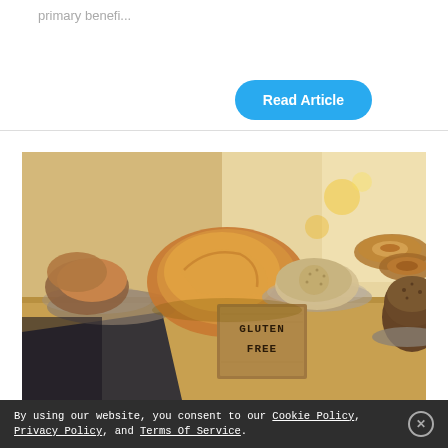primary benefi...
Read Article
[Figure (photo): Bakery table with various baked goods including croissants, bagels, crackers, and a small wooden sign reading 'GLUTEN FREE'. A dark slate board is visible in the foreground and bokeh lights in the background.]
By using our website, you consent to our Cookie Policy, Privacy Policy, and Terms Of Service.